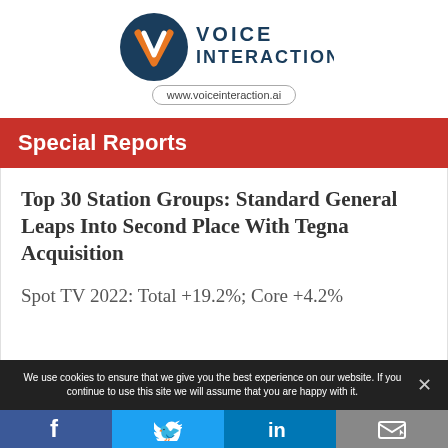[Figure (logo): Voice Interaction logo with blue/orange V icon and VOICE INTERACTION text, with www.voiceinteraction.ai URL in oval border below]
Special Reports
Top 30 Station Groups: Standard General Leaps Into Second Place With Tegna Acquisition
Spot TV 2022: Total +19.2%; Core +4.2%
We use cookies to ensure that we give you the best experience on our website. If you continue to use this site we will assume that you are happy with it.
[Figure (infographic): Social media share buttons: Facebook, Twitter, LinkedIn, and share/email icon]